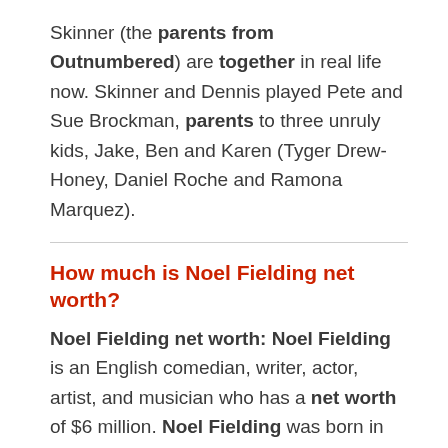Skinner (the parents from Outnumbered) are together in real life now. Skinner and Dennis played Pete and Sue Brockman, parents to three unruly kids, Jake, Ben and Karen (Tyger Drew-Honey, Daniel Roche and Ramona Marquez).
How much is Noel Fielding net worth?
Noel Fielding net worth: Noel Fielding is an English comedian, writer, actor, artist, and musician who has a net worth of $6 million. Noel Fielding was born in Westminster, London, England in May 1973.